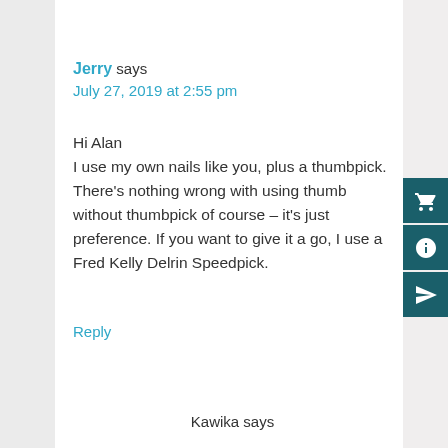Jerry says
July 27, 2019 at 2:55 pm
Hi Alan
I use my own nails like you, plus a thumbpick. There's nothing wrong with using thumb without thumbpick of course – it's just preference. If you want to give it a go, I use a Fred Kelly Delrin Speedpick.
Reply
Kawika says